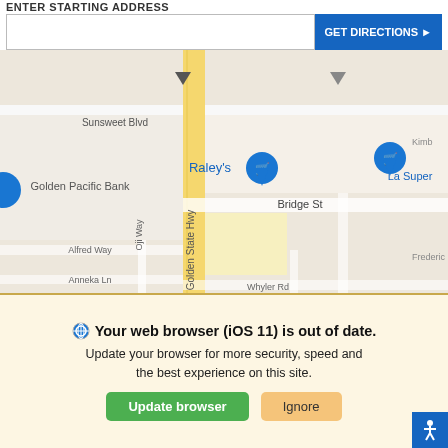ENTER STARTING ADDRESS
[Figure (map): Street map showing area around Golden State Hwy in Yuba City, CA. Visible landmarks: Raley's, Golden Pacific Bank, Cinemark Yuba City, La Super. Streets include Sunsweet Blvd, Bridge St, Alfred Way, Anneka Ln, Whyler Rd, Oji Way, N Bal, Gray Ave, Palc. Navigation markers (blue pins) visible for Raley's and La Super.]
REVIEWS
We use cookies to optimize our website and our service.
Cookie Policy   Privacy Statement
Your web browser (iOS 11) is out of date.
Update your browser for more security, speed and the best experience on this site.